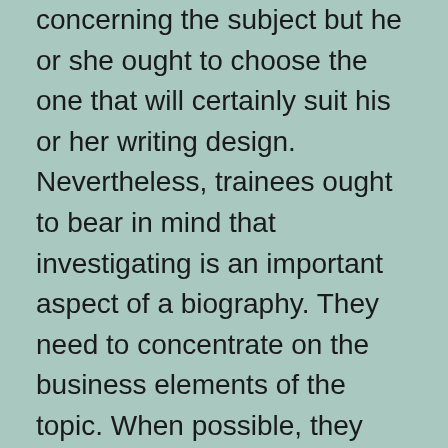concerning the subject but he or she ought to choose the one that will certainly suit his or her writing design. Nevertheless, trainees ought to bear in mind that investigating is an important aspect of a biography. They need to concentrate on the business elements of the topic. When possible, they should include quotes and dialogues of the subject.
The biography must not be also long. Rather, it ought to be quick as well as concentrated. If the subject is an individual, try to make the writing as personal as feasible. A biography must additionally not have any type of sex-